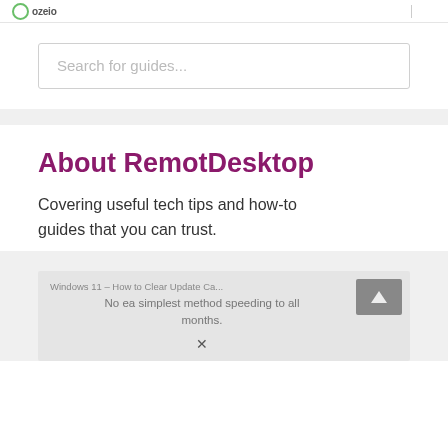ozeio
[Figure (screenshot): Search box with placeholder text 'Search for guides...']
About RemotDesktop
Covering useful tech tips and how-to guides that you can trust.
[Figure (screenshot): Partially visible article card: 'Windows 11 – How to Clear Update Ca...' with excerpt about simplest method, and a thumbnail image button.]